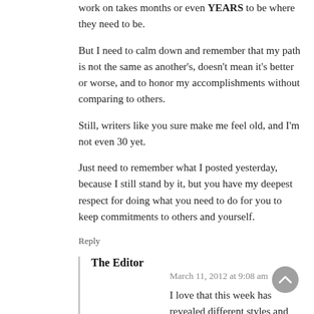work on takes months or even YEARS to be where they need to be.
But I need to calm down and remember that my path is not the same as another's, doesn't mean it's better or worse, and to honor my accomplishments without comparing to others.
Still, writers like you sure make me feel old, and I'm not even 30 yet.
Just need to remember what I posted yesterday, because I still stand by it, but you have my deepest respect for doing what you need to do for you to keep commitments to others and yourself.
Reply
The Editor
March 11, 2012 at 9:08 am
I love that this week has revealed different styles and paces for revision. Some fast, some slow, but each just right. I find it particularly fascinating